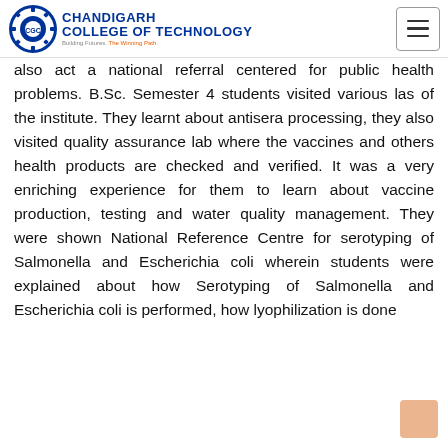Chandigarh College of Technology
also act a national referral centered for public health problems. B.Sc. Semester 4 students visited various las of the institute. They learnt about antisera processing, they also visited quality assurance lab where the vaccines and others health products are checked and verified. It was a very enriching experience for them to learn about vaccine production, testing and water quality management. They were shown National Reference Centre for serotyping of Salmonella and Escherichia coli wherein students were explained about how Serotyping of Salmonella and Escherichia coli is performed, how lyophilization is done